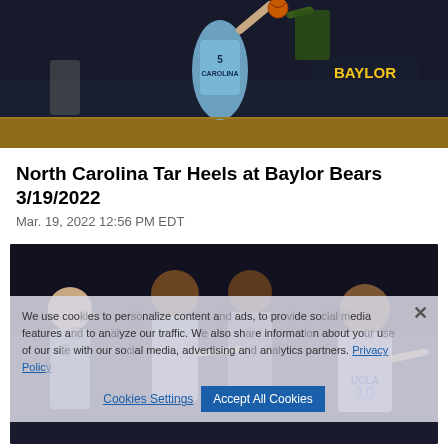[Figure (photo): Basketball action photo: North Carolina player wearing #5 Carolina jersey going up for a play against a Baylor player, dark arena background with Baylor signage visible]
North Carolina Tar Heels at Baylor Bears 3/19/2022
Mar. 19, 2022 12:56 PM EDT
[Figure (photo): Basketball photo: UCLA players celebrating, player wearing #10 UCLA jersey gesturing, with a cookie consent overlay partially covering the image]
We use cookies to personalize content and ads, to provide social media features and to analyze our traffic. We also share information about your use of our site with our social media, advertising and analytics partners. Privacy Policy
Cookies Settings    Accept All Cookies